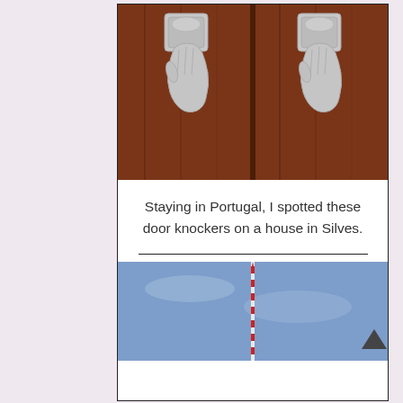[Figure (photo): Two ornate silver hand-shaped door knockers mounted on a dark wooden door, photographed in Silves, Portugal.]
Staying in Portugal, I spotted these door knockers on a house in Silves.
[Figure (photo): A tall red and white striped antenna or tower against a blue sky, partially visible at the bottom of the page.]